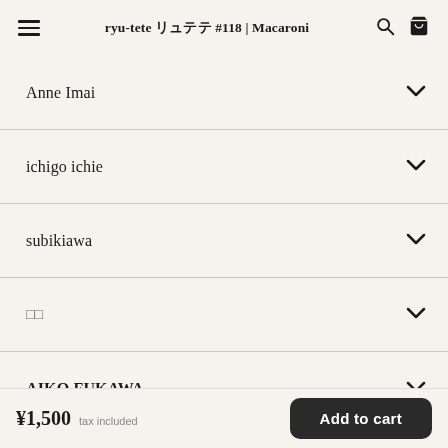ryu-tete リュテテ #118 | Macaroni
Anne Imai
ichigo ichie
subikiawa
□□
AIKO FUKAWA
TADA REIKO
Violet&Claire
¥1,500 tax included  Add to cart